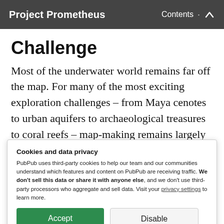Project Prometheus · Contents
Challenge
Most of the underwater world remains far off the map. For many of the most exciting exploration challenges – from Maya cenotes to urban aquifers to archaeological treasures to coral reefs – map-making remains largely pre-industrial and time
Cookies and data privacy
PubPub uses third-party cookies to help our team and our communities understand which features and content on PubPub are receiving traffic. We don't sell this data or share it with anyone else, and we don't use third-party processors who aggregate and sell data. Visit your privacy settings to learn more.
Accept | Disable